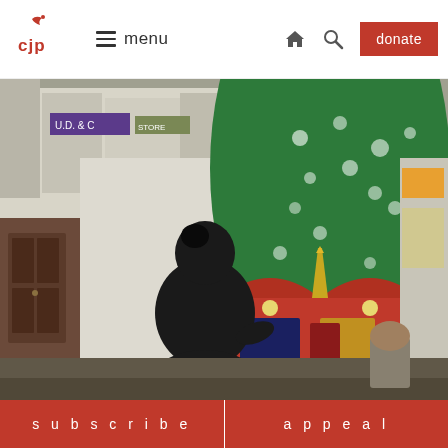CJP | menu | home | search | donate
[Figure (photo): A street scene showing a colourful religious float or tazia decorated with green fabric with white floral patterns and a red ornamental structure underneath, carried through a busy bazaar/market street. A person dressed in black is visible from behind in the foreground. Shops and building facades are visible in the background.]
subscribe | appeal